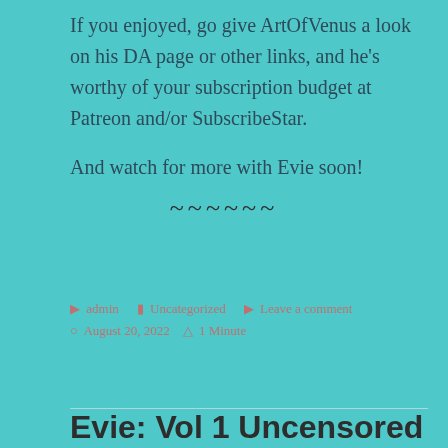If you enjoyed, go give ArtOfVenus a look on his DA page or other links, and he's worthy of your subscription budget at Patreon and/or SubscribeStar.

And watch for more with Evie soon!
~~~~~~
admin   Uncategorized   Leave a comment   August 20, 2022   1 Minute
Evie: Vol 1 Uncensored